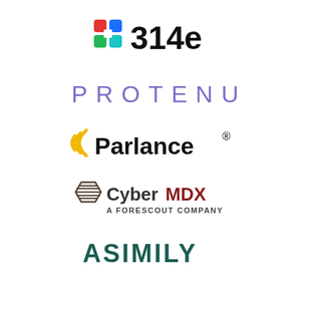[Figure (logo): 314e logo: colorful cross/plus icon followed by bold black text '314e']
[Figure (logo): PROTENUS logo: purple spaced uppercase letters 'PROTENUS']
[Figure (logo): Parlance logo: yellow wifi/wave arc icon followed by bold black text 'Parlance' with registered trademark symbol]
[Figure (logo): CyberMDX logo: geometric hexagon shield icon, 'Cyber' in dark gray and 'MDX' in dark red bold, with 'A FORESCOUT COMPANY' subtitle in small caps]
[Figure (logo): ASIMILY logo: bold dark teal/green uppercase letters 'ASIMILY']